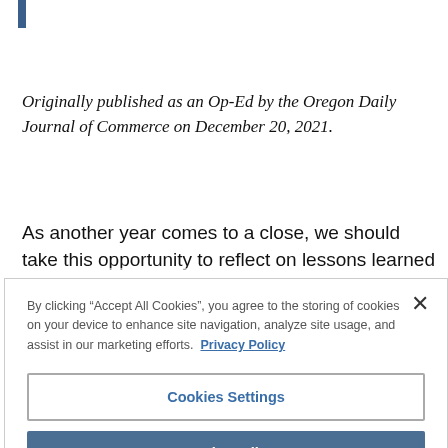Originally published as an Op-Ed by the Oregon Daily Journal of Commerce on December 20, 2021.
As another year comes to a close, we should take this opportunity to reflect on lessons learned and
By clicking “Accept All Cookies”, you agree to the storing of cookies on your device to enhance site navigation, analyze site usage, and assist in our marketing efforts. Privacy Policy
Cookies Settings
Reject All